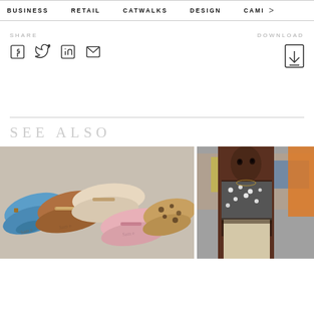BUSINESS   RETAIL   CATWALKS   DESIGN   CAMI >
SHARE
[Figure (other): Social share icons: Facebook, Twitter, LinkedIn, Email]
DOWNLOAD
[Figure (other): PDF download icon]
SEE ALSO
[Figure (photo): Collection of Sam Edelman loafer mules in blue, tan, cream, pink, and leopard print laid flat on a surface]
[Figure (photo): Fashion model in a sparkly crop top with polka dots, outdoors, with another model partially visible]